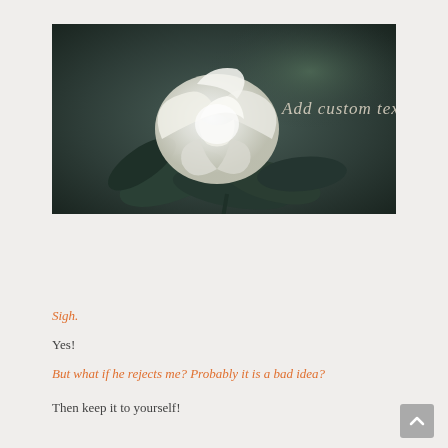[Figure (photo): Dark moody photo of a white rose against a dark teal/green blurred background, with cursive text 'Add custom text' in light color on the right side of the image.]
Sigh.
Yes!
But what if he rejects me? Probably it is a bad idea?
Then keep it to yourself!